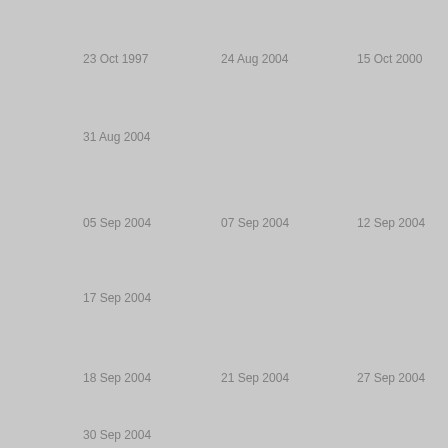23 Oct 1997
24 Aug 2004
15 Oct 2000
31 Aug 2004
05 Sep 2004
07 Sep 2004
12 Sep 2004
17 Sep 2004
18 Sep 2004
21 Sep 2004
27 Sep 2004
30 Sep 2004